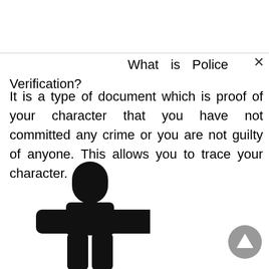What is Police Verification?
It is a type of document which is proof of your character that you have not committed any crime or you are not guilty of anyone. This allows you to trace your character.
[Figure (illustration): Silhouette of a person (police officer or person icon) in black]
[Figure (other): Gray circular scroll-to-top button with upward arrow]